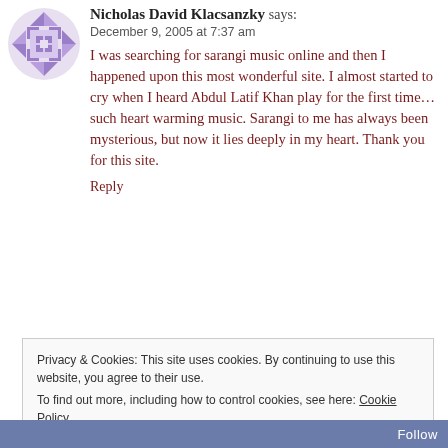[Figure (illustration): Purple geometric quilt-pattern avatar icon in a circle]
Nicholas David Klacsanzky says:
December 9, 2005 at 7:37 am
I was searching for sarangi music online and then I happened upon this most wonderful site. I almost started to cry when I heard Abdul Latif Khan play for the first time… such heart warming music. Sarangi to me has always been mysterious, but now it lies deeply in my heart. Thank you for this site.
Reply
Privacy & Cookies: This site uses cookies. By continuing to use this website, you agree to their use.
To find out more, including how to control cookies, see here: Cookie Policy
Close and accept
Follow